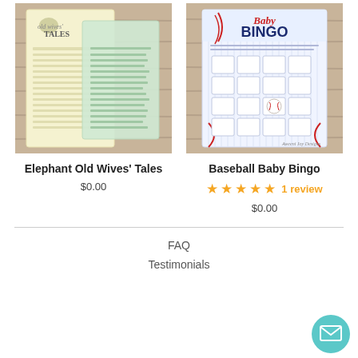[Figure (photo): Elephant Old Wives' Tales baby shower game card product image]
[Figure (photo): Baseball Baby Bingo baby shower game card product image]
Elephant Old Wives' Tales
$0.00
Baseball Baby Bingo
1 review
$0.00
FAQ
Testimonials